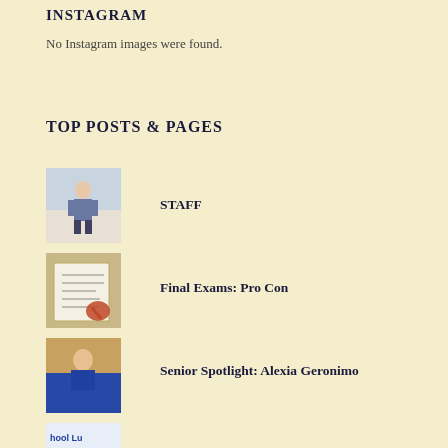INSTAGRAM
No Instagram images were found.
TOP POSTS & PAGES
[Figure (photo): Thumbnail photo of a student standing, staff image]
STAFF
[Figure (photo): Thumbnail of someone writing/studying, book with pencil]
Final Exams: Pro Con
[Figure (photo): Thumbnail photo of a young student]
Senior Spotlight: Alexia Geronimo
[Figure (photo): Thumbnail of school lunch graphic with food items]
First Lunch vs. Second Lunch
[Figure (logo): NHS logo - torch/lamp with letters]
Is the NHS Selection Process Biased?